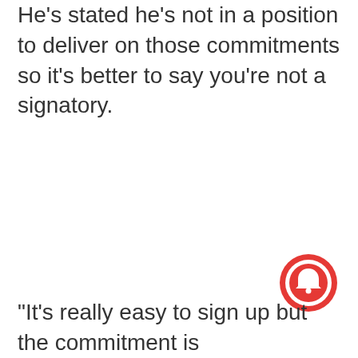He's stated he's not in a position to deliver on those commitments so it's better to say you're not a signatory.
[Figure (illustration): Red circular notification bell icon button in bottom-right corner]
“It’s really easy to sign up but the commitment is